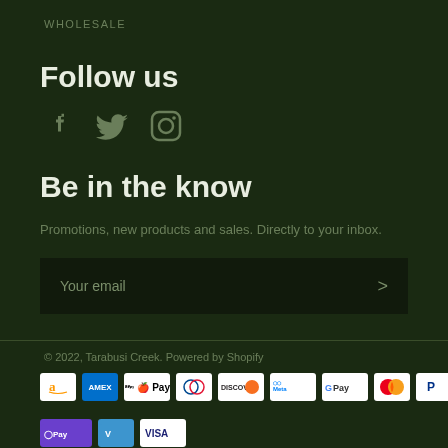WHOLESALE
Follow us
[Figure (illustration): Social media icons: Facebook, Twitter, Instagram]
Be in the know
Promotions, new products and sales. Directly to your inbox.
[Figure (other): Email signup input field with arrow submit button, placeholder text: Your email]
© 2022, Tarabusi Creek. Powered by Shopify
[Figure (other): Payment method icons: Amazon, Amex, Apple Pay, Diners, Discover, Meta Pay, Google Pay, Mastercard, PayPal, Shop Pay, Venmo, Visa]